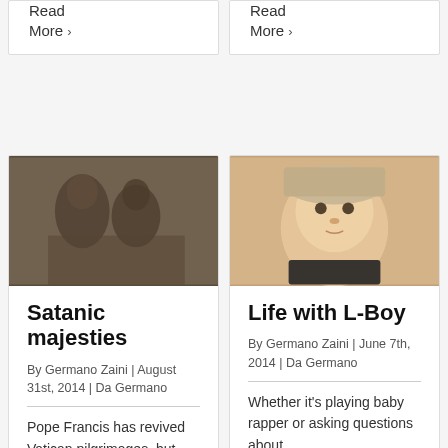Read More ›
Read More ›
[Figure (photo): Black and white vintage photo of two women in a bathroom setting]
Satanic majesties
By Germano Zaini | August 31st, 2014 | Da Germano
Pope Francis has revived Vatican pilgrimages, but he's not the only
[Figure (photo): Color photo of a baby wearing a hat looking at the camera]
Life with L-Boy
By Germano Zaini | June 7th, 2014 | Da Germano
Whether it's playing baby rapper or asking questions about